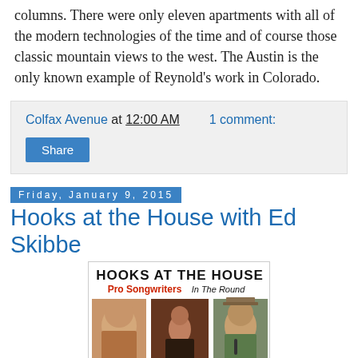columns. There were only eleven apartments with all of the modern technologies of the time and of course those classic mountain views to the west. The Austin is the only known example of Reynold's work in Colorado.
Colfax Avenue at 12:00 AM    1 comment:
Share
Friday, January 9, 2015
Hooks at the House with Ed Skibbe
[Figure (illustration): Promotional poster for 'Hooks at the House - Pro Songwriters In The Round' event featuring photos of three performers: Ed Skibbe, Bradley Weaver (The Rough Cuts, The ...), and Don Alles.]